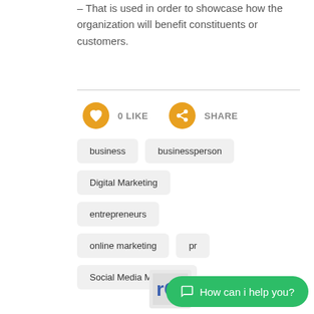– That is used in order to showcase how the organization will benefit constituents or customers.
0 LIKE
SHARE
business
businessperson
Digital Marketing
entrepreneurs
online marketing
pr
Social Media Marketing
How can i help you?